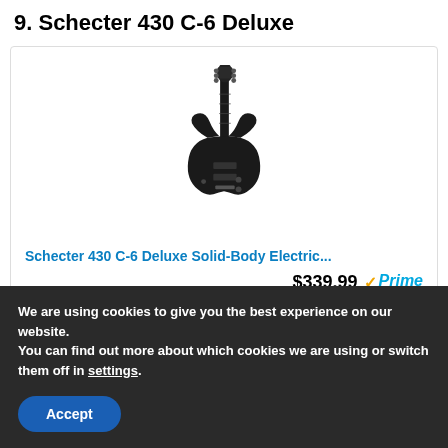9. Schecter 430 C-6 Deluxe
[Figure (photo): Black Schecter 430 C-6 Deluxe solid-body electric guitar shown vertically against white background]
Schecter 430 C-6 Deluxe Solid-Body Electric...
$339.99 ✓Prime
We are using cookies to give you the best experience on our website.
You can find out more about which cookies we are using or switch them off in settings.
Accept